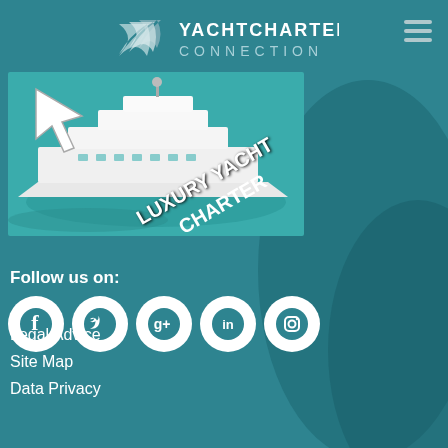[Figure (logo): YachtCharter Connection logo with wave/chevron graphic and text YACHTCHARTER CONNECTION]
[Figure (photo): Luxury yacht on turquoise water with a cursor pointer icon overlay and text 'LUXURY YACHT CHARTER' in white italic]
Follow us on:
[Figure (illustration): Five social media icons in white circles: Facebook, Twitter, Google+, LinkedIn, Instagram]
Legal Advice
Site Map
Data Privacy